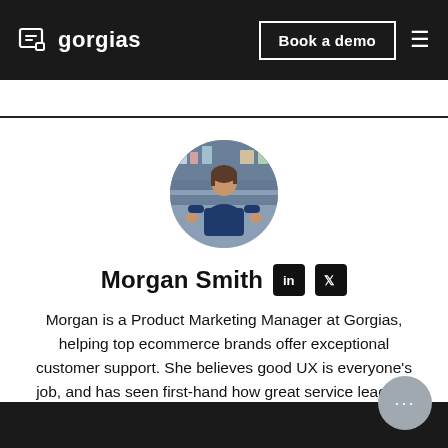gorgias — Book a demo
[Figure (photo): Circular profile photo of Morgan Smith, a woman in a dark blue shirt standing in what appears to be a store]
Morgan Smith
Morgan is a Product Marketing Manager at Gorgias, helping top ecommerce brands offer exceptional customer support. She believes good UX is everyone's job, and has seen first-hand how great service leads to loyal customers.